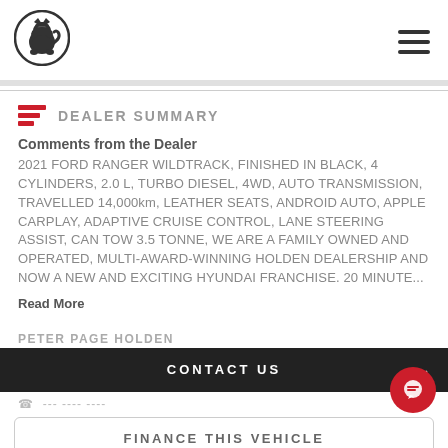[Figure (logo): Holden lion logo in circular badge]
DEALER SUMMARY
Comments from the Dealer
2021 FORD RANGER WILDTRACK, FINISHED IN BLACK, 4 CYLINDERS, 2.0 L, TURBO DIESEL, 4WD, AUTO TRANSMISSION, TRAVELLED 14,000km, LEATHER SEATS, ANDROID AUTO, APPLE CARPLAY, ADAPTIVE CRUISE CONTROL, LANE STEERING ASSIST, CAN TOW 3.5 TONNE, WE ARE A FAMILY OWNED AND OPERATED, MULTI-AWARD-WINNING HOLDEN DEALERSHIP AND NOW A NEW AND EXCITING HYUNDAI FRANCHISE. 20 MINUTE...
Read More
PETER PAGE HOLDEN
CONTACT US
FINANCE THIS VEHICLE